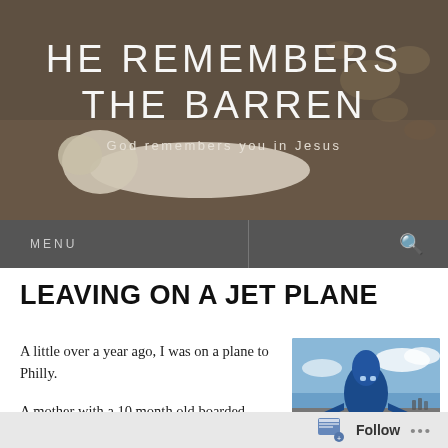[Figure (photo): Blog header banner with a person lying face down on ground, warm earthy tones, with blog title and subtitle text overlaid]
HE REMEMBERS THE BARREN
God remembers you in Jesus
MENU
LEAVING ON A JET PLANE
A little over a year ago, I was on a plane to Philly.
A mother with a 10 month old boarded...
[Figure (photo): Photo of an airplane from the front/nose angle against a blue sky]
Follow ...